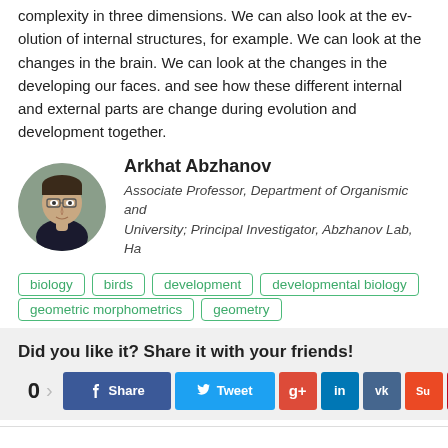complexity in three dimensions. We can also look at the evolution of internal structures, for example. We can look at the changes in the brain. We can look at the changes in the developing our faces. And see how these different internal and external parts are change during evolution and development together.
Arkhat Abzhanov
Associate Professor, Department of Organismic and University; Principal Investigator, Abzhanov Lab, Ha
biology
birds
development
developmental biology
geometric morphometrics
geometry
Did you like it? Share it with your friends!
0  Share  Tweet  g+  in  vk  Su  p  mail